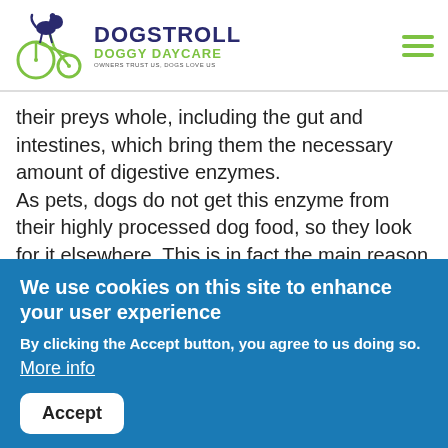DOGSTROLL DOGGY DAYCARE — OWNERS TRUST US, DOGS LOVE US
their preys whole, including the gut and intestines, which bring them the necessary amount of digestive enzymes.
As pets, dogs do not get this enzyme from their highly processed dog food, so they look for it elsewhere. This is in fact the main reason dogs eat poo as it contains this digestive enzyme.
Similarly, an aging dog, a dog with exocrine pancreatic insufficiency, or a dog on a poor diet lacking
We use cookies on this site to enhance your user experience
By clicking the Accept button, you agree to us doing so.
More info
Accept